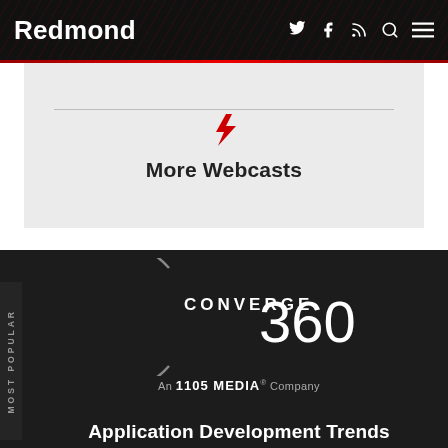Redmond
More Webcasts
[Figure (logo): Converge 360 logo — circular arc with CONVERGE 360 text, white on dark background]
An 1105 MEDIA® Company
Application Development Trends